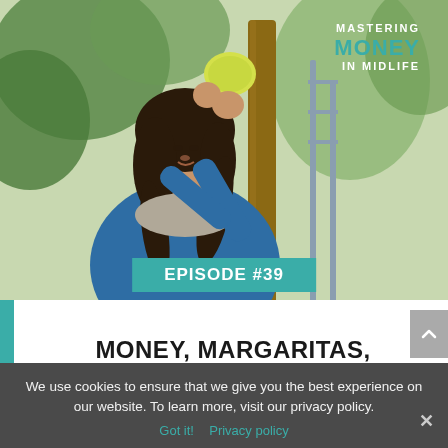[Figure (photo): Woman with dark hair smelling a lemon from a tree, wearing a blue sweater with a grey scarf, outdoors surrounded by green foliage.]
MASTERING MONEY IN MIDLIFE
EPISODE #39
MONEY, MARGARITAS, AND MANTRAS
We use cookies to ensure that we give you the best experience on our website. To learn more, visit our privacy policy.
Got it!  Privacy policy